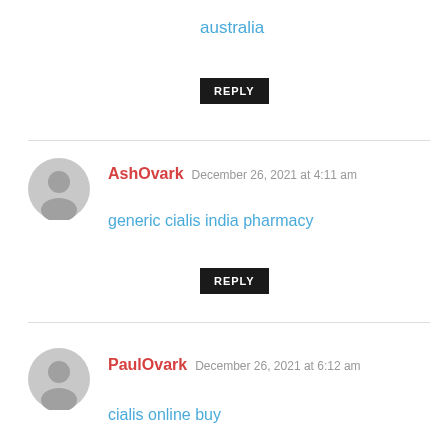australia
REPLY
AshOvark  December 26, 2021 at 4:11 am
generic cialis india pharmacy
REPLY
PaulOvark  December 26, 2021 at 6:12 am
cialis online buy